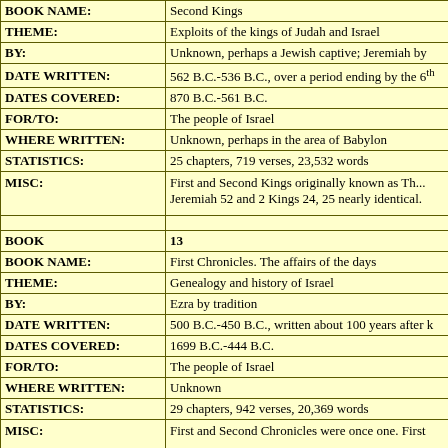| Field | Value |
| --- | --- |
| BOOK NAME: | Second Kings |
| THEME: | Exploits of the kings of Judah and Israel |
| BY: | Unknown, perhaps a Jewish captive;  Jeremiah by |
| DATE WRITTEN: | 562 B.C.-536 B.C., over a period ending by the 6th |
| DATES COVERED: | 870 B.C.-561 B.C. |
| FOR/TO: | The people of Israel |
| WHERE WRITTEN: | Unknown, perhaps in the area of Babylon |
| STATISTICS: | 25 chapters, 719 verses, 23,532 words |
| MISC: | First and Second Kings originally known as Th... Jeremiah 52 and 2 Kings 24, 25 nearly identical. |
|  |  |
| BOOK | 13 |
| BOOK NAME: | First Chronicles.  The affairs of the days |
| THEME: | Genealogy and history of Israel |
| BY: | Ezra by tradition |
| DATE WRITTEN: | 500 B.C.-450 B.C., written about 100 years after k |
| DATES COVERED: | 1699 B.C.-444 B.C. |
| FOR/TO: | The people of Israel |
| WHERE WRITTEN: | Unknown |
| STATISTICS: | 29 chapters, 942 verses, 20,369 words |
| MISC: | First and Second Chronicles were once one.  First |
|  |  |